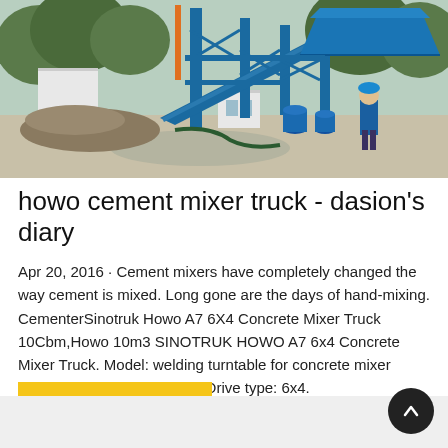[Figure (photo): Outdoor construction site with a large blue concrete batching plant/mixer structure. A worker in a blue uniform and hard hat is walking in the foreground. Piles of gravel/aggregate are on the left. Blue barrels visible near the equipment. Trees in background.]
howo cement mixer truck - dasion's diary
Apr 20, 2016 · Cement mixers have completely changed the way cement is mixed. Long gone are the days of hand-mixing. CementerSinotruk Howo A7 6X4 Concrete Mixer Truck 10Cbm,Howo 10m3 SINOTRUK HOWO A7 6x4 Concrete Mixer Truck. Model: welding turntable for concrete mixer ZZ1257N3847N1, EUROIII. Drive type: 6x4.
Learn More